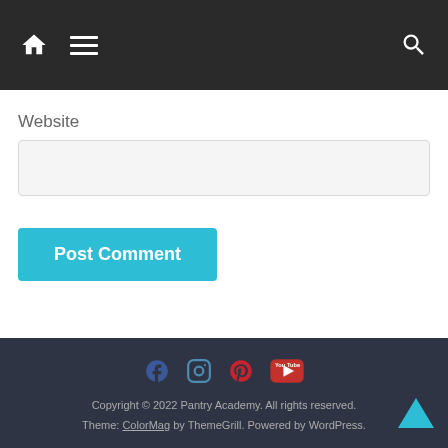Navigation bar with home, menu, and search icons
Website
Post Comment
Copyright © 2022 Pantry Academy. All rights reserved. Theme: ColorMag by ThemeGrill. Powered by WordPress.